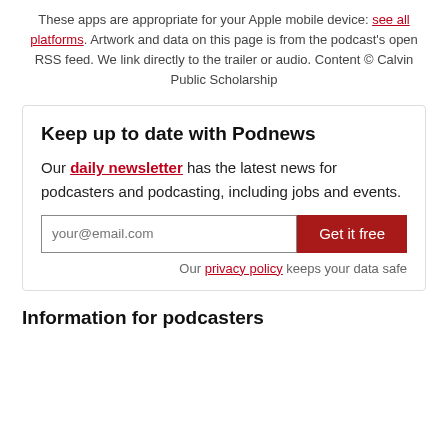These apps are appropriate for your Apple mobile device: see all platforms. Artwork and data on this page is from the podcast's open RSS feed. We link directly to the trailer or audio. Content © Calvin Public Scholarship
Keep up to date with Podnews
Our daily newsletter has the latest news for podcasters and podcasting, including jobs and events.
your@email.com  [Get it free button]
Our privacy policy keeps your data safe
Information for podcasters